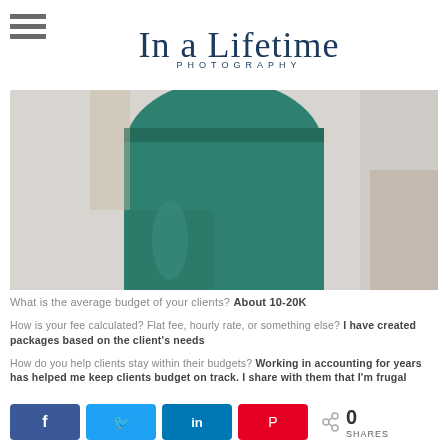In a Lifetime Photography
[Figure (photo): Photo of a person from the torso down wearing teal/green wide-leg trousers, standing in a light-colored room]
What is the average budget of your clients? About 10-20K
How is your fee calculated? Flat fee, hourly rate, or something else? I have created packages based on the client's needs
How do you help clients stay within their budgets? Working in accounting for years has helped me keep clients budget on track. I share with them that I'm frugal
0 SHARES